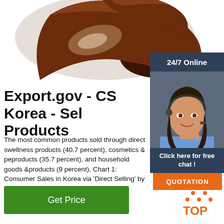[Figure (photo): Close-up photo of dark brown chocolate pieces on white background]
Export.gov - CS Korea - Sel... Products
The most common products sold through direct s... wellness products (40.7 percent), cosmetics & pe... products (35.7 percent), and household goods &... products (9 percent). Chart 1: Consumer Sales in Korea via 'Direct Selling' by Product Category – 2015.
[Figure (photo): 24/7 Online badge with customer service agent photo, Click here for free chat button, and QUOTATION button]
[Figure (other): TOP icon with orange triangular logo and TOP text]